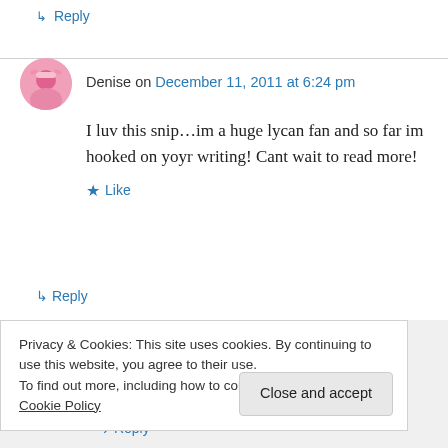↳ Reply
Denise on December 11, 2011 at 6:24 pm
I luv this snip…im a huge lycan fan and so far im hooked on yoyr writing! Cant wait to read more!
★ Like
↳ Reply
Deidra Alexander on December 11, 2011 at
Privacy & Cookies: This site uses cookies. By continuing to use this website, you agree to their use.
To find out more, including how to control cookies, see here: Cookie Policy
Close and accept
↳ Reply